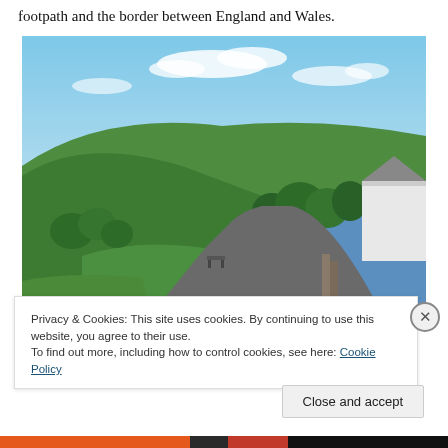footpath and the border between England and Wales.
[Figure (photo): Scenic countryside photograph showing a tarmac path/lane with green rolling hills, trees, blue sky with white clouds, and a white building/barn on the right side. Appears to be a rural valley scene on the England-Wales border.]
Privacy & Cookies: This site uses cookies. By continuing to use this website, you agree to their use.
To find out more, including how to control cookies, see here: Cookie Policy
Close and accept